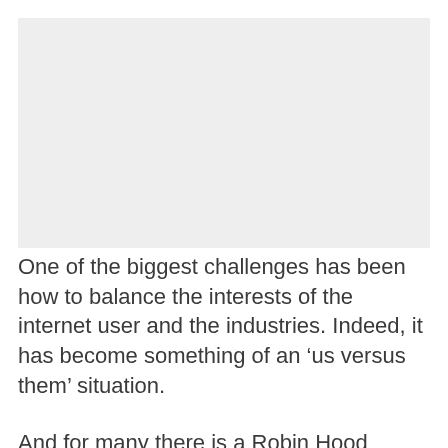[Figure (other): Large grey placeholder image area at the top of the page]
One of the biggest challenges has been how to balance the interests of the internet user and the industries. Indeed, it has become something of an ‘us versus them’ situation.
And for many there is a Robin Hood notion that it is, quite frankly, okay to steal from the